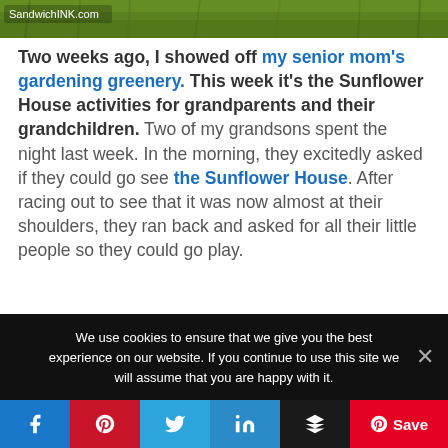[Figure (photo): Top banner image of green garden/grass with SandwichINK.com watermark text]
Two weeks ago, I showed off my senior mom's gardening greenery. This week it's the Sunflower House activities for grandparents and their grandchildren. Two of my grandsons spent the night last week. In the morning, they excitedly asked if they could go see the Sunflower House. After racing out to see that it was now almost at their shoulders, they ran back and asked for all their little people so they could go play.
[Figure (photo): Bottom photo showing green grass and a plant/sunflower stem with leaf]
We use cookies to ensure that we give you the best experience on our website. If you continue to use this site we will assume that you are happy with it.
[Figure (infographic): Social media sharing bar with Facebook, Pinterest, Twitter, LinkedIn, Buffer, and Pinterest Save buttons]